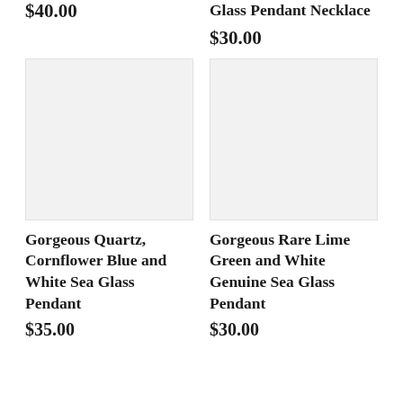$40.00
Glass Pendant Necklace
$30.00
[Figure (photo): Product image placeholder - light gray background, empty]
Gorgeous Quartz, Cornflower Blue and White Sea Glass Pendant
$35.00
[Figure (photo): Product image placeholder - light gray background, empty]
Gorgeous Rare Lime Green and White Genuine Sea Glass Pendant
$30.00